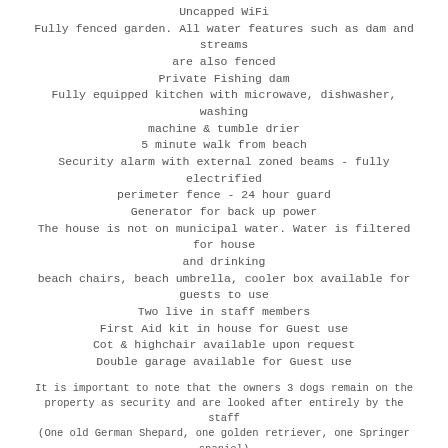Uncapped WiFi
Fully fenced garden. All water features such as dam and streams are also fenced
Private Fishing dam
Fully equipped kitchen with microwave, dishwasher, washing machine & tumble drier
5 minute walk from beach
Security alarm with external zoned beams - fully electrified perimeter fence - 24 hour guard
Generator for back up power
The house is not on municipal water. Water is filtered for house and drinking
beach chairs, beach umbrella, cooler box available for guests to use
Two live in staff members
First Aid kit in house for Guest use
Cot & highchair available upon request
Double garage available for Guest use
It is important to note that the owners 3 dogs remain on the property as security and are looked after entirely by the staff (One old German Shepard, one golden retriever, one Springer spaniel)
PLEASE NOTE Faulty television sets and other electrical appliances will be repaired as soon as reasonably possible, Monday to Friday, 8 am to 4 pm. (Except Public Holidays). No reductions or refunds in the price of the letting will be made or allowed as a result of such faults or any other problems that may arise.